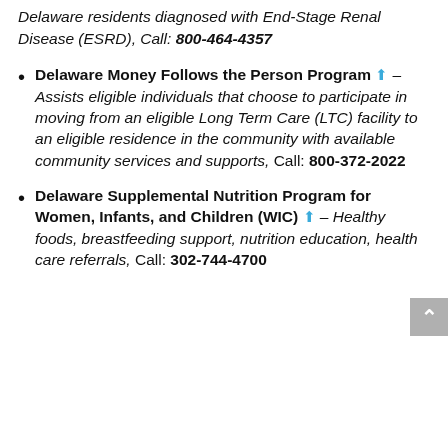Delaware residents diagnosed with End-Stage Renal Disease (ESRD), Call: 800-464-4357
Delaware Money Follows the Person Program – Assists eligible individuals that choose to participate in moving from an eligible Long Term Care (LTC) facility to an eligible residence in the community with available community services and supports, Call: 800-372-2022
Delaware Supplemental Nutrition Program for Women, Infants, and Children (WIC) – Healthy foods, breastfeeding support, nutrition education, health care referrals, Call: 302-744-4700